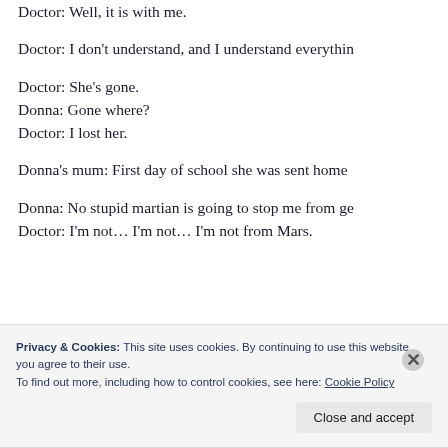Doctor: Well, it is with me.
Doctor: I don't understand, and I understand everything.
Doctor: She's gone.
Donna: Gone where?
Doctor: I lost her.
Donna's mum: First day of school she was sent home
Donna: No stupid martian is going to stop me from ge
Doctor: I'm not… I'm not… I'm not from Mars.
Privacy & Cookies: This site uses cookies. By continuing to use this website, you agree to their use.
To find out more, including how to control cookies, see here: Cookie Policy